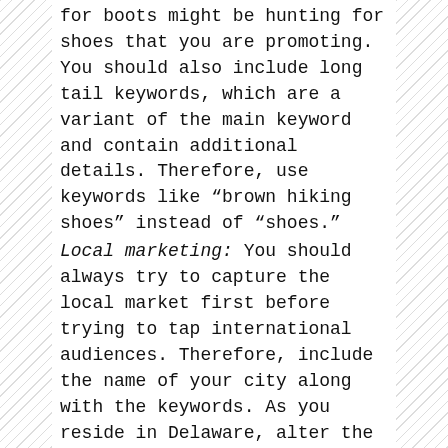for boots might be hunting for shoes that you are promoting. You should also include long tail keywords, which are a variant of the main keyword and contain additional details. Therefore, use keywords like “brown hiking shoes” instead of “shoes.”
Local marketing: You should always try to capture the local market first before trying to tap international audiences. Therefore, include the name of your city along with the keywords. As you reside in Delaware, alter the keywords and include the name of your city too. For example, change the long tail keyword mentioned above to “brown hiking shoes in Delaware.”
Backlinks: Including links from blogs and websites that have a high ranking and niche compatible with yours plays a huge role in boosting your website’s SERP. You